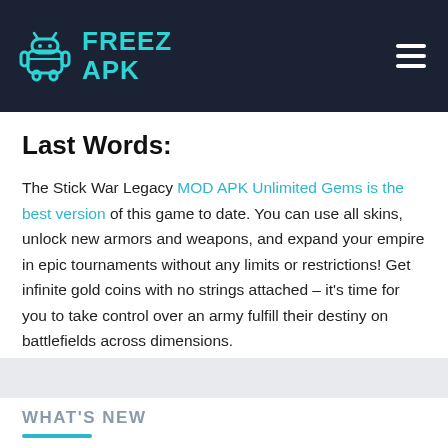FREEZ APK
Last Words:
The Stick War Legacy MOD APK Unlimited Gems is the best version of this game to date. You can use all skins, unlock new armors and weapons, and expand your empire in epic tournaments without any limits or restrictions! Get infinite gold coins with no strings attached – it's time for you to take control over an army fulfill their destiny on battlefields across dimensions.
WHAT'S NEW
New Undead Skins Added for all units!